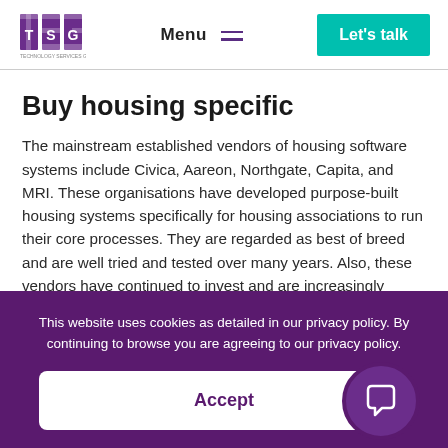TSG | Menu | Let's talk
Buy housing specific
The mainstream established vendors of housing software systems include Civica, Aareon, Northgate, Capita, and MRI. These organisations have developed purpose-built housing systems specifically for housing associations to run their core processes. They are regarded as best of breed and are well tried and tested over many years. Also, these vendors have continued to invest and are increasingly working to deliver
This website uses cookies as detailed in our privacy policy. By continuing to browse you are agreeing to our privacy policy.
Accept